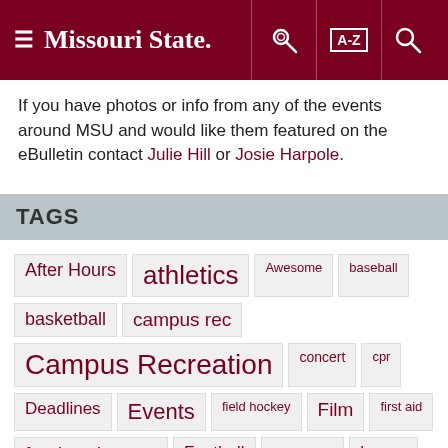Missouri State — Navigation header with hamburger menu, key icon, A-Z index, and search icon
If you have photos or info from any of the events around MSU and would like them featured on the eBulletin contact Julie Hill or Josie Harpole.
TAGS
After Hours
athletics
Awesome
baseball
basketball
campus rec
Campus Recreation
concert
cpr
Deadlines
Events
field hockey
Film
first aid
food assistance
Football
Free
haven
Information
lecture
massage therapy